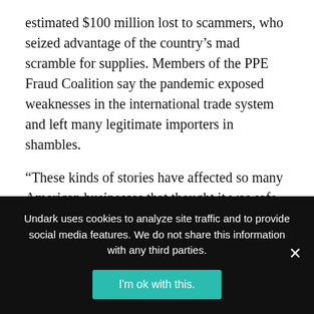estimated $100 million lost to scammers, who seized advantage of the country's mad scramble for supplies. Members of the PPE Fraud Coalition say the pandemic exposed weaknesses in the international trade system and left many legitimate importers in shambles.
“These kinds of stories have affected so many American businesses that thought it was safe to operate in Vietnam — and I thought it was safe to operate in China,” Morgan said. “Ever since the pandemic, all the flaws in the system have come out.”
Undark uses cookies to analyze site traffic and to provide social media features. We do not share this information with any third parties.